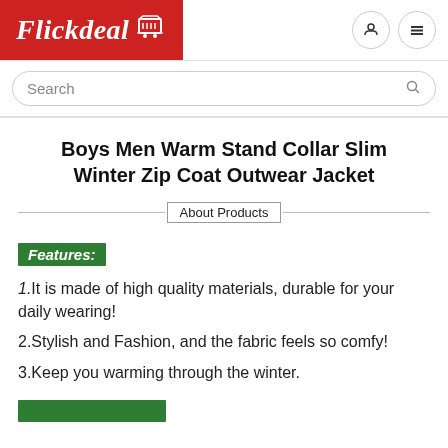[Figure (logo): Flickdeal logo on red background with shopping cart icon]
[Figure (screenshot): Navigation icons: cart, user, menu (hamburger) in circular borders]
Search
Boys Men Warm Stand Collar Slim Winter Zip Coat Outwear Jacket
About Products
Features:
1.It is made of high quality materials, durable for your daily wearing!
2.Stylish and Fashion, and the fabric feels so comfy!
3.Keep you warming through the winter.